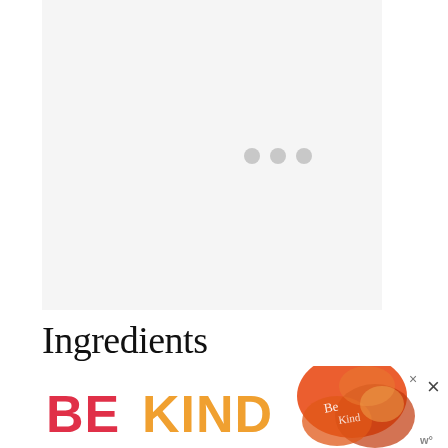[Figure (other): Loading placeholder area with light gray background and three gray dots indicating content loading]
Ingredients
Banana Spice Snack Cake
[Figure (other): Advertisement banner reading BE KIND with decorative floral illustration and close button]